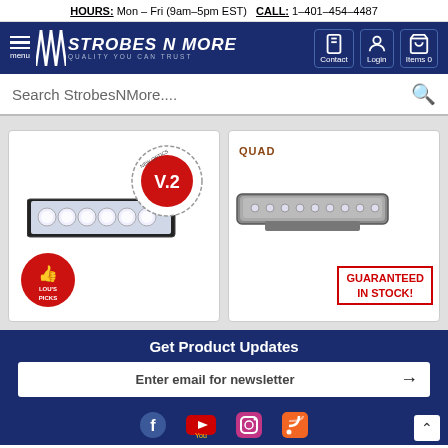HOURS: Mon - Fri (9am-5pm EST)  CALL: 1-401-454-4487
[Figure (logo): StrobesNMore logo with hamburger menu and navigation icons (Contact, Login, Items 0)]
Search StrobesNMore....
[Figure (photo): LED strobe light head product with V.2 badge and Lou's Picks badge]
[Figure (photo): Quad lightbar product with GUARANTEED IN STOCK badge]
Get Product Updates
Enter email for newsletter
[Figure (infographic): Social media icons: Facebook, YouTube, Instagram, RSS feed]